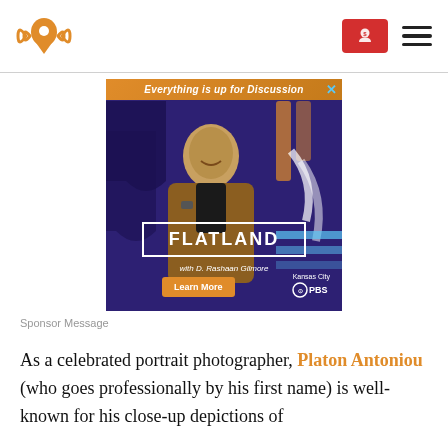[Figure (logo): Podcast/radio logo: orange location pin with sound waves on left and right]
[Figure (screenshot): Flatland with D. Rashaan Gilmore — Kansas City PBS advertisement. Text reads 'Everything is up for Discussion', 'FLATLAND', 'with D. Rashaan Gilmore', 'Learn More', 'Kansas City PBS']
Sponsor Message
As a celebrated portrait photographer, Platon Antoniou (who goes professionally by his first name) is well-known for his close-up depictions of